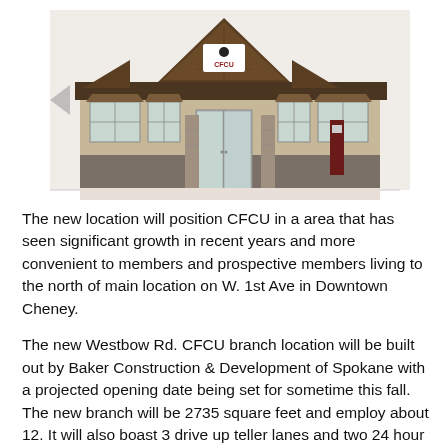[Figure (illustration): Architectural rendering of a CFCU branch building — a beige/tan building with a dark brown peaked roof, CFCU logo/sign in the center gable, glass entrance doors, decorative stone base, and awnings over windows on either side.]
The new location will position CFCU in a area that has seen significant growth in recent years and more convenient to members and prospective members living to the north of main location on W. 1st Ave in Downtown Cheney.
The new Westbow Rd. CFCU branch location will be built out by Baker Construction & Development of Spokane with a projected opening date being set for sometime this fall. The new branch will be 2735 square feet and employ about 12. It will also boast 3 drive up teller lanes and two 24 hour ATM's .
Cheney Federal Credit Union today has over 5000 members and $94 millon dollars in total assets. Membership in the credit union is available to all who live, work, worship or